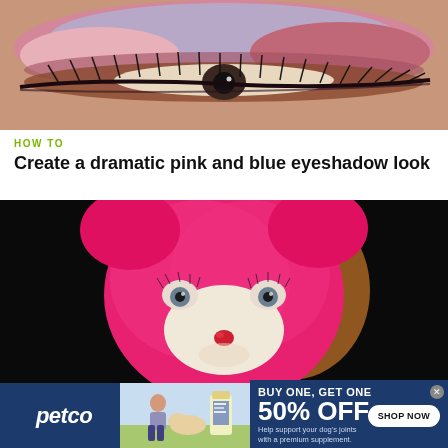[Figure (photo): Close-up photo of a human eye with dramatic pink and blue eyeshadow makeup, dark eyeliner and thick eyelashes]
HOW TO
Create a dramatic pink and blue eyeshadow look
[Figure (photo): Photo of a pink-furred monkey or animal face with eyelashes and a red dot nose, set against a black background]
[Figure (infographic): Petco advertisement banner: BUY ONE, GET ONE 50% OFF - Help support your dog's joints with a premium supplement. SHOP NOW button. Shows a woman with a dog and supplement product.]